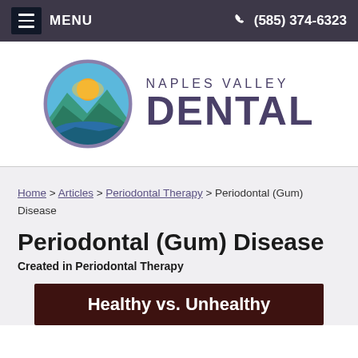MENU  (585) 374-6323
[Figure (logo): Naples Valley Dental logo with circular mountain/landscape emblem and text 'NAPLES VALLEY DENTAL']
Home > Articles > Periodontal Therapy > Periodontal (Gum) Disease
Periodontal (Gum) Disease
Created in Periodontal Therapy
[Figure (illustration): Dark brown banner with white bold text: 'Healthy vs. Unhealthy']